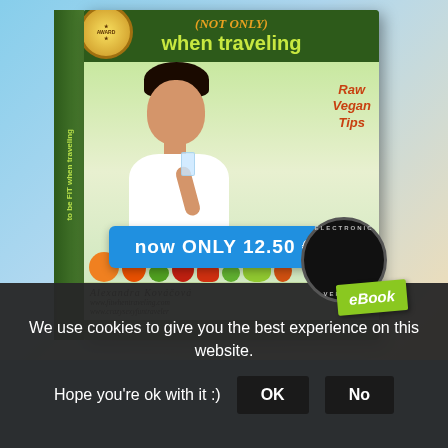[Figure (photo): Book cover displayed in 3D perspective showing a health/fitness eBook titled 'how to (NOT ONLY) when traveling' with Raw Vegan Tips subtitle, featuring a woman drinking water surrounded by fruits and vegetables. Author: Alexandra Kováčová. Websites: www.fitwhentraveling.com, www.crazysexyfuntraveler. eBook badge visible. Below the book is a blue buy button reading 'now ONLY 12.50 €'.]
We use cookies to give you the best experience on this website.
Hope you're ok with it :)
OK
No